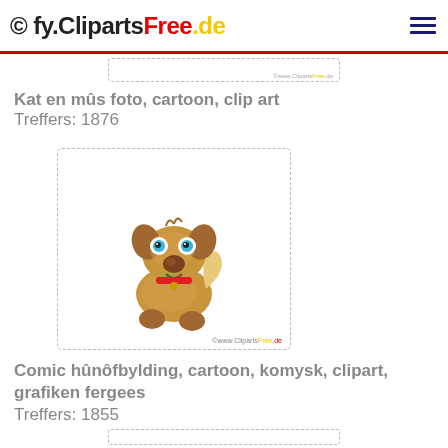© fy.ClipartsFree.de
Kat en mûs foto, cartoon, clip art
Treffers: 1876
[Figure (illustration): Cartoon illustration of a cute sitting puppy dog with brown fur, blue eyes, red collar, on white background with dashed border. Watermark: ©www.ClipartsFree.de]
Comic hûnôfbylding, cartoon, komysk, clipart, grafiken fergees
Treffers: 1855